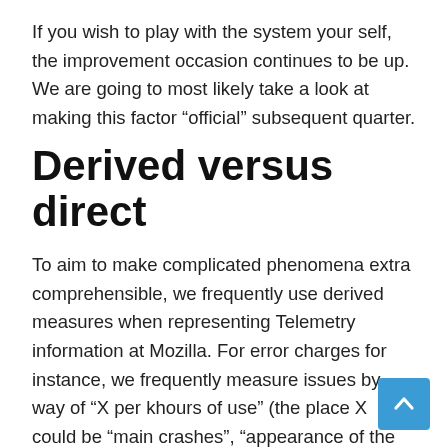If you wish to play with the system your self, the improvement occasion continues to be up. We are going to most likely take a look at making this factor “official” subsequent quarter.
Derived versus direct
To aim to make complicated phenomena extra comprehensible, we frequently use derived measures when representing Telemetry information at Mozilla. For error charges for instance, we frequently measure issues by way of “X per khours of use” (the place X could be “main crashes”, “appearance of the slow script dialogue”). I.e. as an alternative of exhibiting a uncooked depend of errors we present a